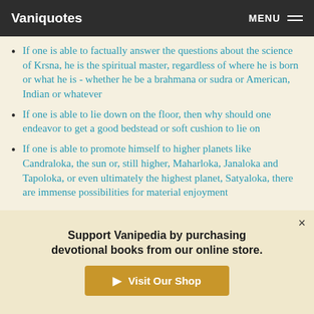Vaniquotes MENU
If one is able to factually answer the questions about the science of Krsna, he is the spiritual master, regardless of where he is born or what he is - whether he be a brahmana or sudra or American, Indian or whatever
If one is able to lie down on the floor, then why should one endeavor to get a good bedstead or soft cushion to lie on
If one is able to promote himself to higher planets like Candraloka, the sun or, still higher, Maharloka, Janaloka and Tapoloka, or even ultimately the highest planet, Satyaloka, there are immense possibilities for material enjoyment
Support Vanipedia by purchasing devotional books from our online store.
Visit Our Shop